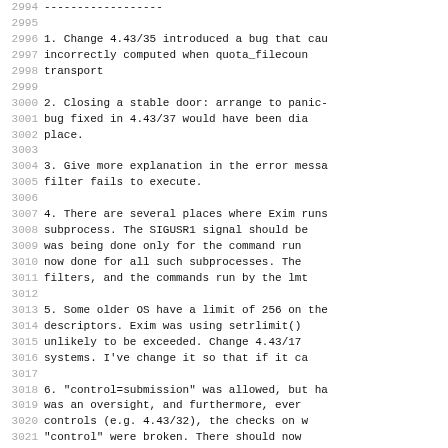2994 ------------------
2995 (blank)
2996-2998 1. Change 4.43/35 introduced a bug that cau incorrectly computed when quota_filecoun transport
2999 (blank)
3000-3002 2. Closing a stable door: arrange to panic- bug fixed in 4.43/37 would have been dia place.
3003 (blank)
3004-3005 3. Give more explanation in the error messa filter fails to execute.
3006 (blank)
3007-3011 4. There are several places where Exim runs subprocess. The SIGUSR1 signal should be was being done only for the command run now done for all such subprocesses. The filters, and the commands run by the lmt
3012 (blank)
3013-3016 5. Some older OS have a limit of 256 on the descriptors. Exim was using setrlimit() unlikely to be exceeded. Change 4.43/17 systems. I've change it so that if it ca
3017 (blank)
3018-3022 6. "control=submission" was allowed, but ha was an oversight, and furthermore, ever controls (e.g. 4.43/32), the checks on w "control" were broken. There should now control that does not make sense is enco
3023 (blank)
3024-3025 7. $recipients is now available in the pred
3026 8. Tidy the cache before the fork to